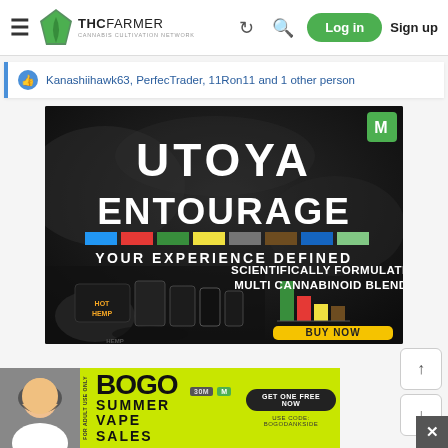THCFarmer — Cannabis Cultivation Network | Log in | Sign up
Kanashiihawk63, PerfecTrader, 11Ron11 and 1 other person
[Figure (photo): Utoya Entourage advertisement — dark moky background with product lineup and text: UTOYA ENTOURAGE — YOUR EXPERIENCE DEFINED — SCIENTIFICALLY FORMULATED MULTI CANNABINOID BLENDS — BUY NOW]
[Figure (photo): BOGO Summer Vape Sales banner ad with person smiling on left side, yellow-green background, black bold text BOGO SUMMER VAPE SALES, GET ONE FREE NOW, USE CODE: BOGODANKSIDE]